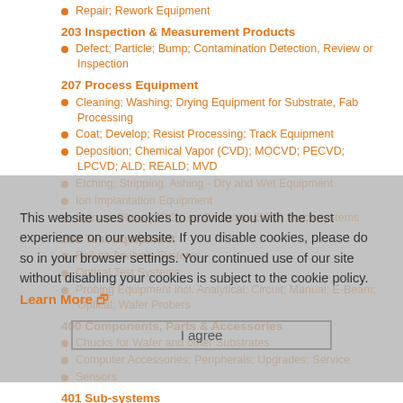Repair; Rework Equipment
203 Inspection & Measurement Products
Defect; Particle; Bump; Contamination Detection, Review or Inspection
207 Process Equipment
Cleaning; Washing; Drying Equipment for Substrate, Fab Processing
Coat; Develop; Resist Processing; Track Equipment
Deposition; Chemical Vapor (CVD); MOCVD; PECVD; LPCVD; ALD; REALD; MVD
Etching; Stripping; Ashing - Dry and Wet Equipment
Ion Implantation Equipment
Spin on Glass (SOG); on Dielectric (SOD) Track systems
208 Test Equipment
Failure Analysis Systems
Optical Test Systems
Probing Equipment incl. Analytical; Circuit; Manual; E-Beam; Optical; Wafer Probers
400 Components, Parts & Accessories
Chucks for Wafer and other Substrates
Computer Accessories; Peripherals; Upgrades; Service
Sensors
401 Sub-systems
Pumps, for Fluids
Temperature Sensing; Control; Recirculators; Chillers; Heat Exchangers